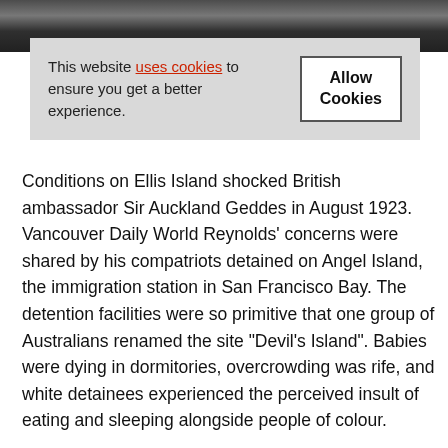[Figure (photo): Black and white photograph strip showing partial figures, cropped at top of page]
This website uses cookies to ensure you get a better experience.
Allow Cookies
Conditions on Ellis Island shocked British ambassador Sir Auckland Geddes in August 1923. Vancouver Daily World Reynolds' concerns were shared by his compatriots detained on Angel Island, the immigration station in San Francisco Bay. The detention facilities were so primitive that one group of Australians renamed the site “Devil’s Island”. Babies were dying in dormitories, overcrowding was rife, and white detainees experienced the perceived insult of eating and sleeping alongside people of colour.
As objections to Australians’ detention mounted, politicians took up the matter in federal parliament. The Commonwealth government launched a formal investigation.